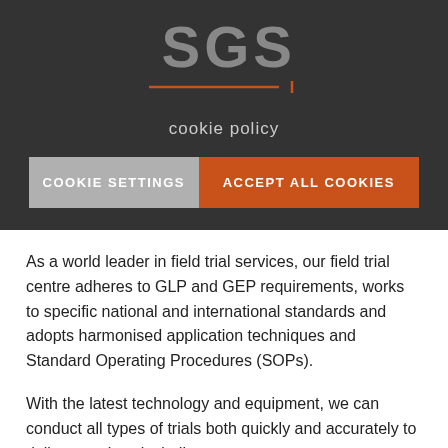[Figure (logo): SGS company logo in gray letters with orange horizontal lines beneath, on dark background]
cookie policy
COOKIE SETTINGS
ACCEPT ALL COOKIES
As a world leader in field trial services, our field trial centre adheres to GLP and GEP requirements, works to specific national and international standards and adopts harmonised application techniques and Standard Operating Procedures (SOPs).
With the latest technology and equipment, we can conduct all types of trials both quickly and accurately to deliver services including: